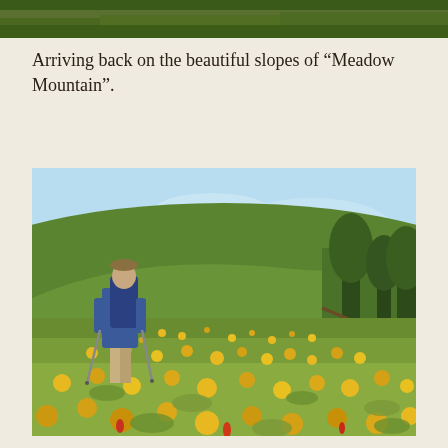[Figure (photo): Top strip of a photo showing a meadow or hillside scene with green vegetation, partial crop at top of page]
Arriving back on the beautiful slopes of “Meadow Mountain”.
[Figure (photo): A hiker with a blue backpack and trekking poles walking through a hillside meadow covered in yellow wildflowers (balsamroot), with green rolling hills, a blue sky, and conifer trees visible in the background on the right]